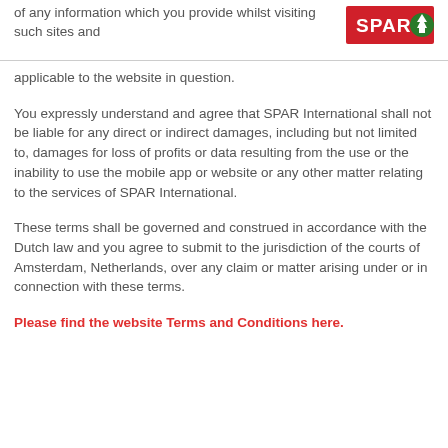of any information which you provide whilst visiting such sites and
[Figure (logo): SPAR International logo — red rectangle with white SPAR text and green tree icon]
applicable to the website in question.
You expressly understand and agree that SPAR International shall not be liable for any direct or indirect damages, including but not limited to, damages for loss of profits or data resulting from the use or the inability to use the mobile app or website or any other matter relating to the services of SPAR International.
These terms shall be governed and construed in accordance with the Dutch law and you agree to submit to the jurisdiction of the courts of Amsterdam, Netherlands, over any claim or matter arising under or in connection with these terms.
Please find the website Terms and Conditions here.